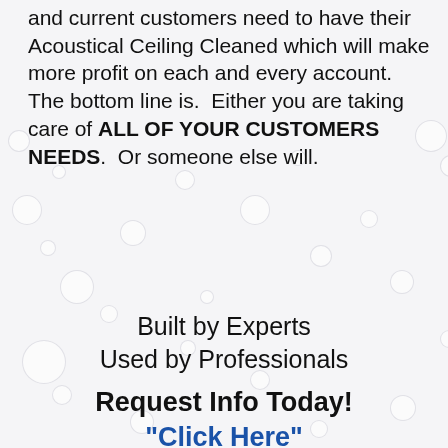and current customers need to have their Acoustical Ceiling Cleaned which will make more profit on each and every account. The bottom line is. Either you are taking care of ALL OF YOUR CUSTOMERS NEEDS. Or someone else will.
Built by Experts
Used by Professionals
Request Info Today!
"Click Here"
(877) 656-2636